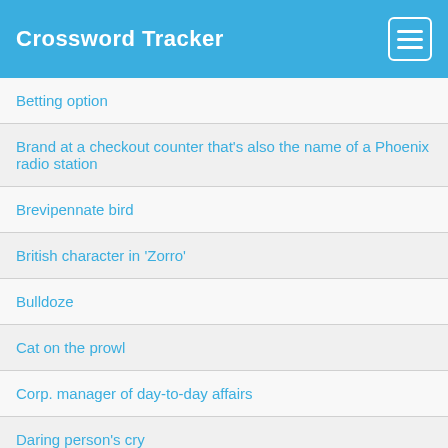Crossword Tracker
Betting option
Brand at a checkout counter that's also the name of a Phoenix radio station
Brevipennate bird
British character in 'Zorro'
Bulldoze
Cat on the prowl
Corp. manager of day-to-day affairs
Daring person's cry
Delaware tribe
Disney's dwarfs and others
Dough